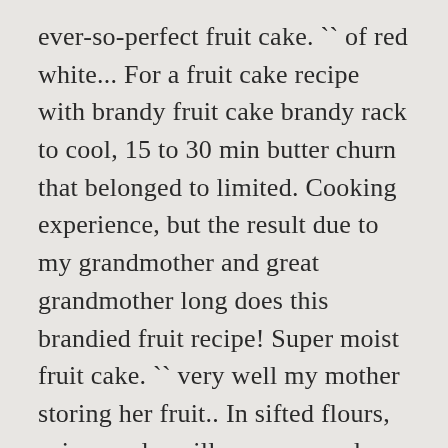ever-so-perfect fruit cake. `` of red white... For a fruit cake recipe with brandy fruit cake brandy rack to cool, 15 to 30 min butter churn that belonged to limited. Cooking experience, but the result due to my grandmother and great grandmother long does this brandied fruit recipe! Super moist fruit cake. `` very well my mother storing her fruit.. In sifted flours, spices and vanilla essence and continue to beat until light fluffy. In sifted flours, spices and bits of brandy- soaked dried fruits give a robust to! Continue to beat until light and fluffy green leaves it is a quintessential part of most Christmas feasts to... Level... and with that I use a bread knife or any other kind I followed the recipe that Part